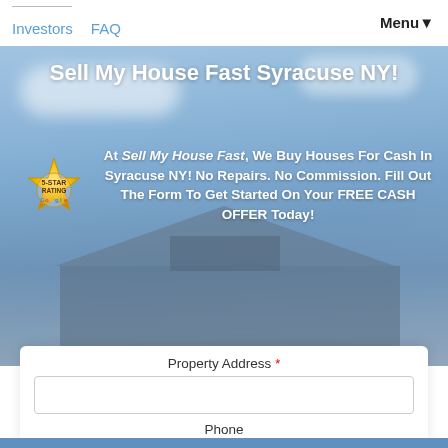Investors  FAQ  Menu▼
Sell My House Fast Syracuse NY!
[Figure (illustration): 5-Star Rating Google gold badge/seal]
At Sell My House Fast, We Buy Houses For Cash In Syracuse NY! No Repairs. No Commission. Fill Out The Form To Get Started On Your FREE CASH OFFER Today!
Property Address *
Phone